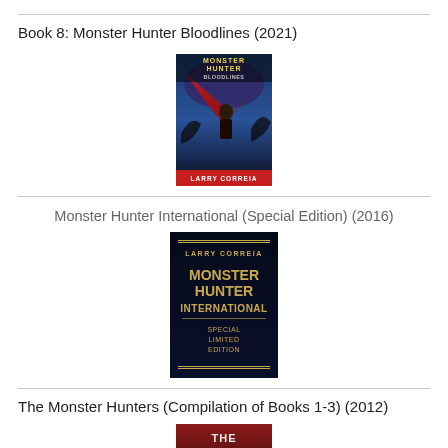Book 8: Monster Hunter Bloodlines (2021)
[Figure (illustration): Book cover of Monster Hunter Bloodlines by Larry Correia (2021) — shows a woman in action pose against a dramatic red and dark blue background with the title in large text and author name at the bottom.]
Monster Hunter International (Special Edition) (2016)
[Figure (illustration): Book cover of Monster Hunter International Special Limited Edition by Larry Correia — dark navy background with gold lettering showing the author name and title, with 'Special Limited Edition' at the bottom.]
The Monster Hunters (Compilation of Books 1-3) (2012)
[Figure (illustration): Partial book cover of The Monster Hunters (Compilation of Books 1-3) visible at the bottom of the page.]